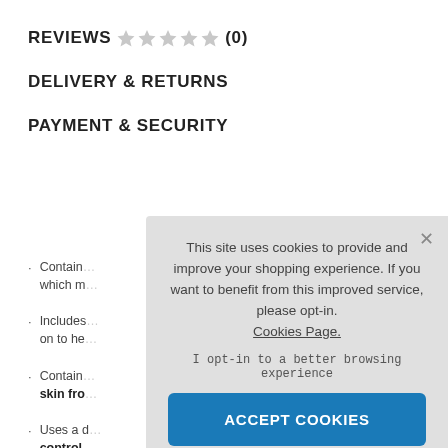REVIEWS ☆ ☆ ☆ ☆ ☆ (0)
DELIVERY & RETURNS
PAYMENT & SECURITY
Contain... which m...
Includes... on to he...
Contain... skin fro...
Uses a ... control...
This site uses cookies to provide and improve your shopping experience. If you want to benefit from this improved service, please opt-in. Cookies Page.
I opt-in to a better browsing experience
ACCEPT COOKIES